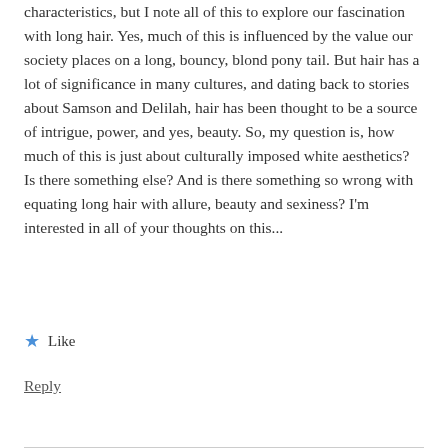characteristics, but I note all of this to explore our fascination with long hair. Yes, much of this is influenced by the value our society places on a long, bouncy, blond pony tail. But hair has a lot of significance in many cultures, and dating back to stories about Samson and Delilah, hair has been thought to be a source of intrigue, power, and yes, beauty. So, my question is, how much of this is just about culturally imposed white aesthetics? Is there something else? And is there something so wrong with equating long hair with allure, beauty and sexiness? I'm interested in all of your thoughts on this...
★ Like
Reply